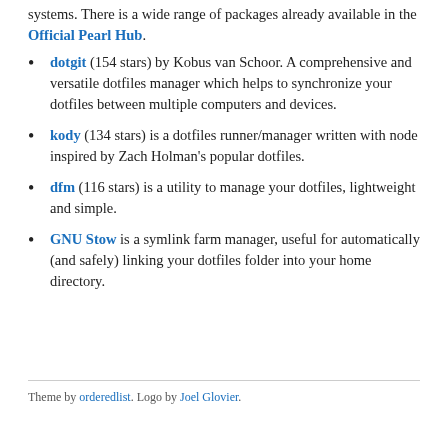systems. There is a wide range of packages already available in the Official Pearl Hub.
dotgit (154 stars) by Kobus van Schoor. A comprehensive and versatile dotfiles manager which helps to synchronize your dotfiles between multiple computers and devices.
kody (134 stars) is a dotfiles runner/manager written with node inspired by Zach Holman's popular dotfiles.
dfm (116 stars) is a utility to manage your dotfiles, lightweight and simple.
GNU Stow is a symlink farm manager, useful for automatically (and safely) linking your dotfiles folder into your home directory.
Theme by orderedlist. Logo by Joel Glovier.